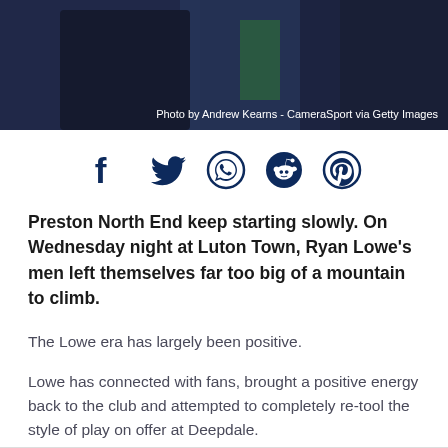[Figure (photo): Dark photo of a person in a dark jacket with green visible in background]
Photo by Andrew Kearns - CameraSport via Getty Images
[Figure (infographic): Social media share icons: Facebook, Twitter, WhatsApp, Reddit, Pinterest]
Preston North End keep starting slowly. On Wednesday night at Luton Town, Ryan Lowe's men left themselves far too big of a mountain to climb.
The Lowe era has largely been positive.
Lowe has connected with fans, brought a positive energy back to the club and attempted to completely re-tool the style of play on offer at Deepdale.